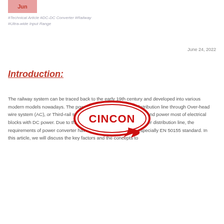Jun
#Technical Article #DC-DC Converter #Railway #Ultra-wide Input Range
June 24, 2022
Introduction:
[Figure (logo): Cincon logo: red oval speech-bubble shape with CINCON text in bold red letters and a red arrow]
The railway system can be traced back to the early 19th century and developed into various modern models nowadays. The power source came from AC distribution line through Over-head wire system (AC), or Third-rail system (AC or DC) into the cabinet and power most of electrical blocks with DC power. Due to the fluctuation or disturbance of power distribution line, the requirements of power converter have to meet certain criteria especially EN 50155 standard. In this article, we will discuss the key factors and the concepts to